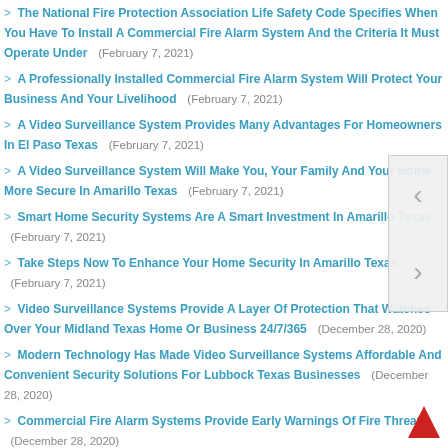The National Fire Protection Association Life Safety Code Specifies When You Have To Install A Commercial Fire Alarm System And the Criteria It Must Operate Under (February 7, 2021)
A Professionally Installed Commercial Fire Alarm System Will Protect Your Business And Your Livelihood (February 7, 2021)
A Video Surveillance System Provides Many Advantages For Homeowners In El Paso Texas (February 7, 2021)
A Video Surveillance System Will Make You, Your Family And Your Home More Secure In Amarillo Texas (February 7, 2021)
Smart Home Security Systems Are A Smart Investment In Amarillo Texas (February 7, 2021)
Take Steps Now To Enhance Your Home Security In Amarillo Texas (February 7, 2021)
Video Surveillance Systems Provide A Layer Of Protection That Watches Over Your Midland Texas Home Or Business 24/7/365 (December 28, 2020)
Modern Technology Has Made Video Surveillance Systems Affordable And Convenient Security Solutions For Lubbock Texas Businesses (December 28, 2020)
Commercial Fire Alarm Systems Provide Early Warnings Of Fire Threats (December 28, 2020)